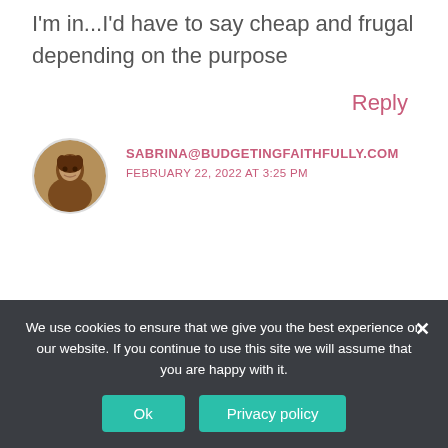I'm in...I'd have to say cheap and frugal depending on the purpose
Reply
[Figure (photo): Circular avatar photo of Sabrina, a woman with dark skin and short hair]
SABRINA@BUDGETINGFAITHFULLY.COM
FEBRUARY 22, 2022 AT 3:25 PM
We use cookies to ensure that we give you the best experience on our website. If you continue to use this site we will assume that you are happy with it.
Ok
Privacy policy